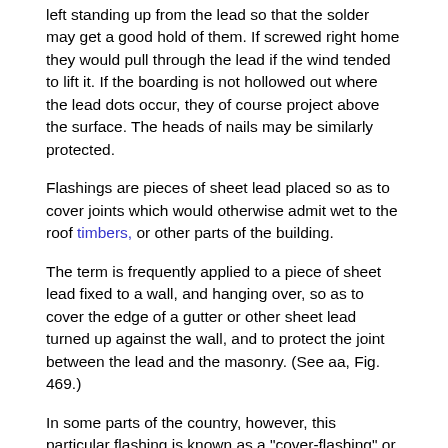left standing up from the lead so that the solder may get a good hold of them. If screwed right home they would pull through the lead if the wind tended to lift it. If the boarding is not hollowed out where the lead dots occur, they of course project above the surface. The heads of nails may be similarly protected.
Flashings are pieces of sheet lead placed so as to cover joints which would otherwise admit wet to the roof timbers, or other parts of the building.
The term is frequently applied to a piece of sheet lead fixed to a wall, and hanging over, so as to cover the edge of a gutter or other sheet lead turned up against the wall, and to protect the joint between the lead and the masonry. (See aa, Fig. 469.)
In some parts of the country, however, this particular flashing is known as a "cover-flashing" or "apron."
The term "flashing" will be taken in these Notes to include the whole of the lead used for the protection of a joint, and "cover-flashing" or "apron" to refer only to the overhanging piece.
The flashings principally required in a building are over the joints formed between the roof lead and the walls or slating, and at...